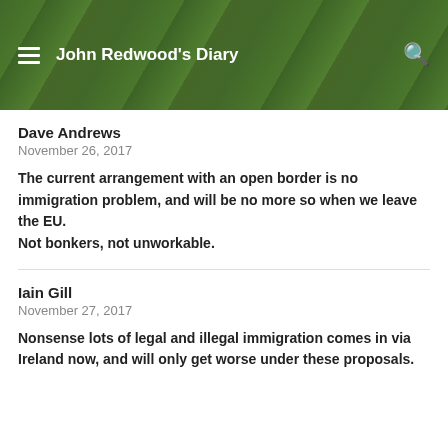John Redwood's Diary
Dave Andrews
November 26, 2017
The current arrangement with an open border is no immigration problem, and will be no more so when we leave the EU.
Not bonkers, not unworkable.
Iain Gill
November 27, 2017
Nonsense lots of legal and illegal immigration comes in via Ireland now, and will only get worse under these proposals.